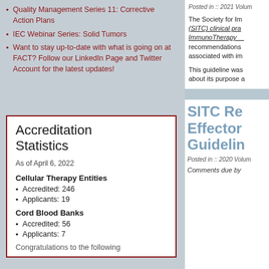Quality Management Series 11: Corrective Action Plans
IEC Webinar Series: Solid Tumors
Want to stay up-to-date with what is going on at FACT? Follow our LinkedIn Page and Twitter Account for the latest updates!
Accreditation Statistics
As of April 6, 2022
Cellular Therapy Entities
Accredited: 246
Applicants: 19
Cord Blood Banks
Accredited: 56
Applicants: 7
Congratulations to the following
Posted in :: 2021 Volum
The Society for Im (SITC) clinical pra ImmunoTherapy__ recommendations  associated with im
This guideline was about its purpose a
SITC Re Effector Guidelin
Posted in :: 2020 Volum
Comments due by